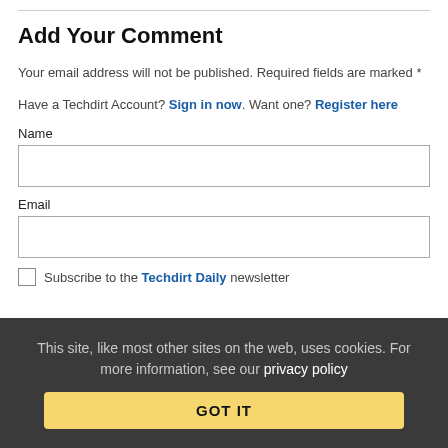Add Your Comment
Your email address will not be published. Required fields are marked *
Have a Techdirt Account? Sign in now. Want one? Register here
Name
Email
Subscribe to the Techdirt Daily newsletter
This site, like most other sites on the web, uses cookies. For more information, see our privacy policy
GOT IT